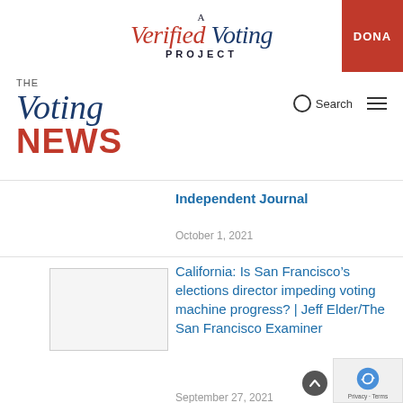A Verified Voting Project
[Figure (logo): The Voting News logo with 'THE' in small grey text, 'Voting' in italic blue serif, and 'NEWS' in bold red sans-serif]
Independent Journal
October 1, 2021
[Figure (photo): Blank/placeholder image box]
California: Is San Francisco’s elections director impeding voting machine progress? | Jeff Elder/The San Francisco Examiner
September 27, 2021